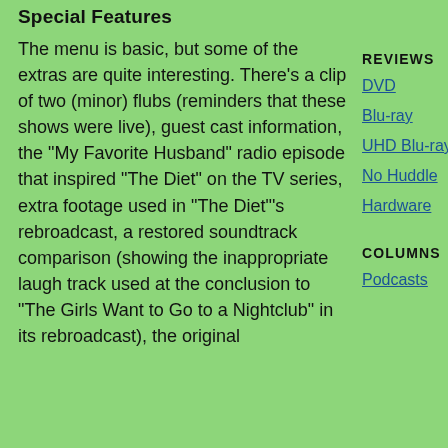Special Features
The menu is basic, but some of the extras are quite interesting. There's a clip of two (minor) flubs (reminders that these shows were live), guest cast information, the “My Favorite Husband” radio episode that inspired “The Diet” on the TV series, extra footage used in “The Diet”’s rebroadcast, a restored soundtrack comparison (showing the inappropriate laugh track used at the conclusion to “The Girls Want to Go to a Nightclub” in its rebroadcast), the original
REVIEWS
DVD
Blu-ray
UHD Blu-ray (4K)
No Huddle
Hardware
COLUMNS
Podcasts